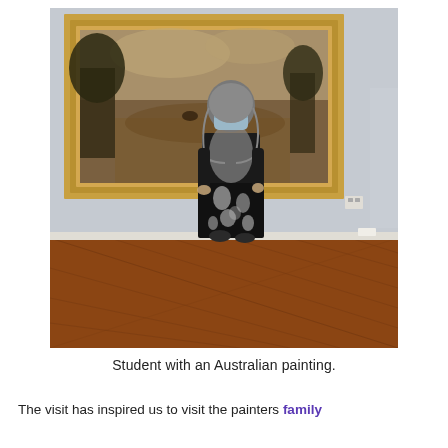[Figure (photo): A woman wearing a gray hijab and face mask, dressed in a black coat and decorated black dress/skirt, standing in an art gallery in front of a large gold-framed Australian landscape painting. The floor is herringbone-patterned wooden parquet.]
Student with an Australian painting.
The visit has inspired us to visit the painters family